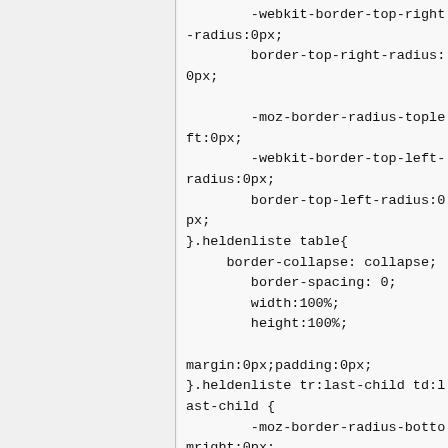-webkit-border-top-right-radius:0px;
        border-top-right-radius:0px;

        -moz-border-radius-topleft:0px;
        -webkit-border-top-left-radius:0px;
        border-top-left-radius:0px;
}.heldenliste table{
     border-collapse: collapse;
        border-spacing: 0;
        width:100%;
        height:100%;

margin:0px;padding:0px;
}.heldenliste tr:last-child td:last-child {
        -moz-border-radius-bottomright:0px;
        -webkit-border-bottom-right-radius:0px;